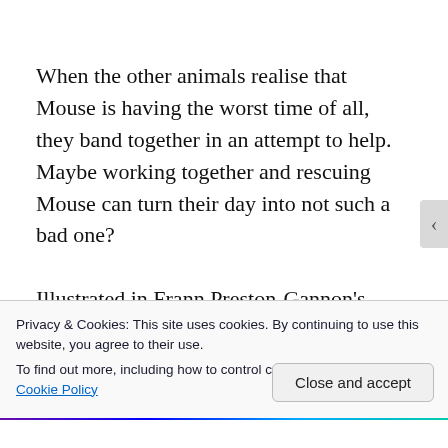When the other animals realise that Mouse is having the worst time of all, they band together in an attempt to help. Maybe working together and rescuing Mouse can turn their day into not such a bad one?

Illustrated in Frann Preston-Gannon's beautiful style, with wide-eyed expressions and lots of texture, this will be a hit with young readers
Privacy & Cookies: This site uses cookies. By continuing to use this website, you agree to their use.
To find out more, including how to control cookies, see here:
Cookie Policy
Close and accept